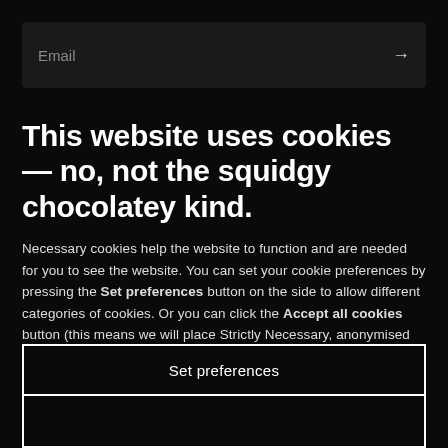[Figure (screenshot): Email input bar with arrow button on dark background]
This website uses cookies — no, not the squidgy chocolatey kind.
Necessary cookies help the website to function and are needed for you to see the website. You can set your cookie preferences by pressing the Set preferences button on the side to allow different categories of cookies. Or you can click the Accept all cookies button (this means we will place Strictly Necessary, anonymised Statistical/Analytical on your device). You can read more about the cookies, why and how we use them in our Cookie Policy.
Set preferences
Accept all cookies